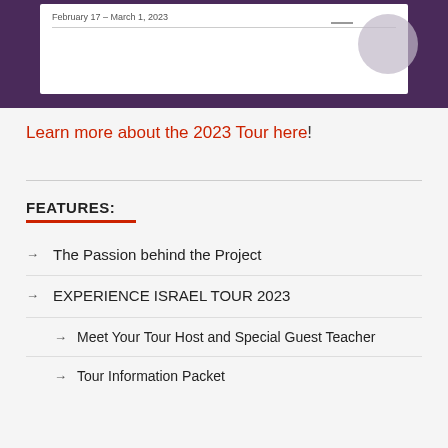[Figure (screenshot): Screenshot of a tour webpage or brochure showing 'February 17 – March 1, 2023' text on a dark purple background with a white card and gray circle element]
Learn more about the 2023 Tour here!
FEATURES:
The Passion behind the Project
EXPERIENCE ISRAEL TOUR 2023
Meet Your Tour Host and Special Guest Teacher
Tour Information Packet